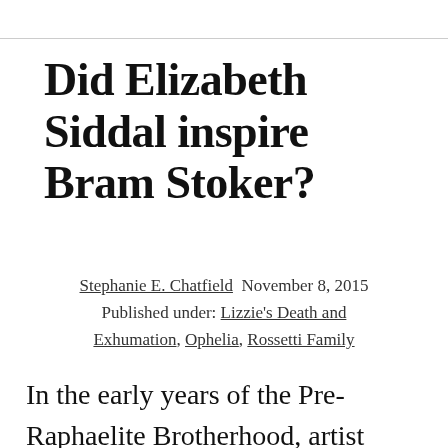Did Elizabeth Siddal inspire Bram Stoker?
Stephanie E. Chatfield  November 8, 2015
Published under: Lizzie's Death and Exhumation, Ophelia, Rossetti Family
In the early years of the Pre-Raphaelite Brotherhood, artist Walter